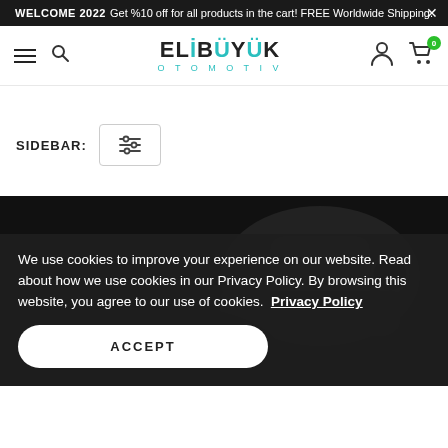WELCOME 2022 Get %10 off for all products in the cart! FREE Worldwide Shipping. ×
[Figure (screenshot): Elibüyük Otomotiv e-commerce website navigation bar with hamburger menu, search icon, logo, user icon, and cart icon showing 0 items]
SIDEBAR:
[Figure (other): Filter/sidebar toggle button with sliders icon]
[Figure (photo): Dark product photo showing a black automotive part on dark background]
We use cookies to improve your experience on our website. Read about how we use cookies in our Privacy Policy. By browsing this website, you agree to our use of cookies.  Privacy Policy
ACCEPT